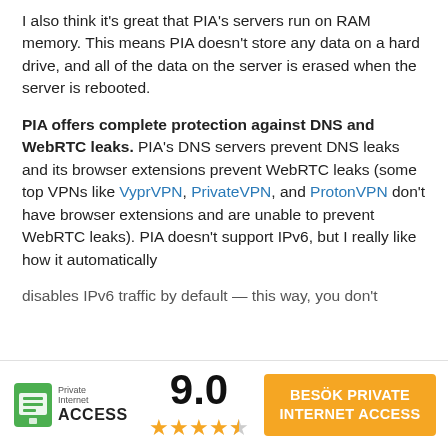I also think it's great that PIA's servers run on RAM memory. This means PIA doesn't store any data on a hard drive, and all of the data on the server is erased when the server is rebooted.
PIA offers complete protection against DNS and WebRTC leaks. PIA's DNS servers prevent DNS leaks and its browser extensions prevent WebRTC leaks (some top VPNs like VyprVPN, PrivateVPN, and ProtonVPN don't have browser extensions and are unable to prevent WebRTC leaks). PIA doesn't support IPv6, but I really like how it automatically disables IPv6 traffic by default — this way, you don't
[Figure (logo): Private Internet Access logo with shield icon]
9.0
[Figure (other): 4.5 out of 5 stars rating]
BESÖK PRIVATE INTERNET ACCESS